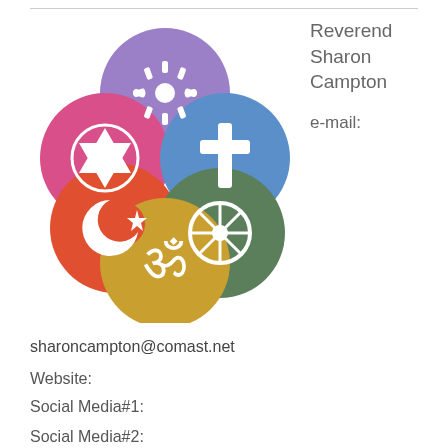[Figure (illustration): Six overlapping circles arranged in a flower/petal pattern, each containing a white religious symbol on a colored background: purple circle with Zia sun symbol, pink/magenta circle with Star of David, blue circle with Christian cross, red-orange circle with Islamic crescent and star, olive/green circle with Dharma wheel, and golden/yellow circle with Om symbol.]
Reverend
Sharon Campton
e-mail:
sharoncampton@comast.net
Website:
Social Media#1:
Social Media#2: